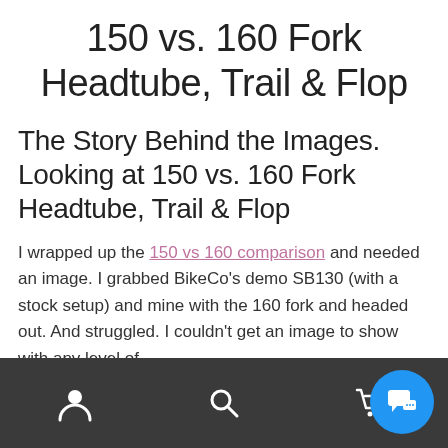150 vs. 160 Fork Headtube, Trail & Flop
The Story Behind the Images. Looking at 150 vs. 160 Fork Headtube, Trail & Flop
I wrapped up the 150 vs 160 comparison and needed an image. I grabbed BikeCo's demo SB130 (with a stock setup) and mine with the 160 fork and headed out. And struggled. I couldn't get an image to show with any level of
[navigation bar with user, search, cart, and chat icons]